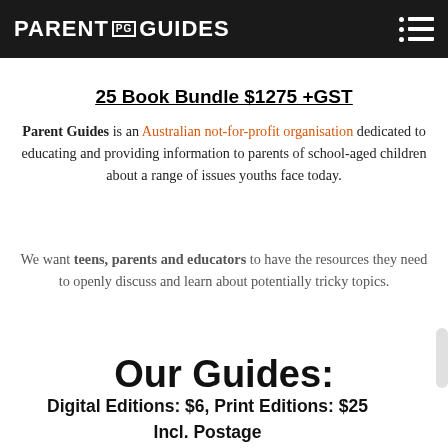PARENT PG GUIDES
25 Book Bundle $1275 +GST
Parent Guides is an Australian not-for-profit organisation dedicated to educating and providing information to parents of school-aged children about a range of issues youths face today.
We want teens, parents and educators to have the resources they need to openly discuss and learn about potentially tricky topics.
Our Guides:
Digital Editions: $6, Print Editions: $25